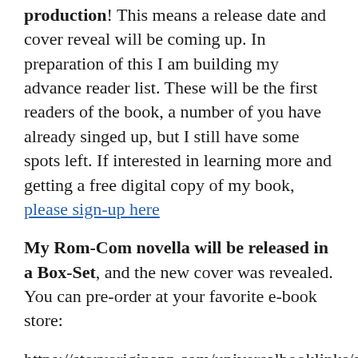production! This means a release date and cover reveal will be coming up. In preparation of this I am building my advance reader list. These will be the first readers of the book, a number of you have already singed up, but I still have some spots left. If interested in learning more and getting a free digital copy of my book, please sign-up here
My Rom-Com novella will be released in a Box-Set, and the new cover was revealed. You can pre-order at your favorite e-book store:
https://storyoriginapp.com/universalbooklinks/a345dd12-abf3-11ea-958f-5bbbdc6aeba6 I'm getting excited. I cannot wait to share this story with you all!